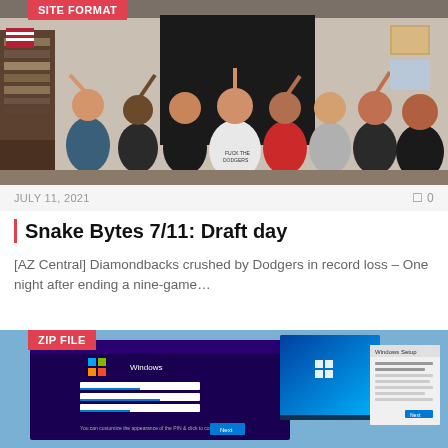[Figure (photo): Group photo of approximately 8 people making rock-on hand gestures in a room with bookshelves and framed photos on the wall]
SITE FORMAT
JULY 11, 2021   0
Snake Bytes 7/11: Draft day
[AZ Central] Diamondbacks crushed by Dodgers in record loss – One night after ending a nine-game…
[Figure (screenshot): Screenshot showing Windows 11 installation/setup screens with blue background and dialog boxes]
ZIP FILE